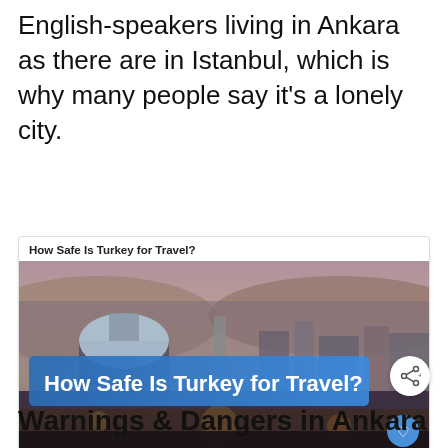English-speakers living in Ankara as there are in Istanbul, which is why many people say it's a lonely city.
How Safe Is Turkey for Travel?
[Figure (photo): Aerial cityscape of Ankara showing a geodesic dome building and dense urban skyline. A blue banner overlay reads 'How Safe Is Turkey for Travel?' in bold white text. A blue heart/favorite button is in the bottom right corner.]
Warnings & Dangers in Ankara